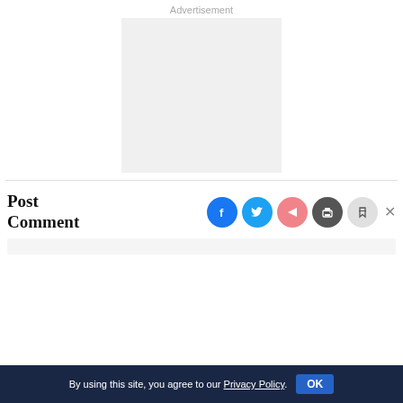Advertisement
[Figure (other): Advertisement placeholder box (gray rectangle)]
Post Comment
[Figure (other): Social sharing icons: Facebook (blue), Twitter (blue), Share (pink/red), Print (dark gray), Bookmark (light gray), and a close X button]
By using this site, you agree to our Privacy Policy.  OK